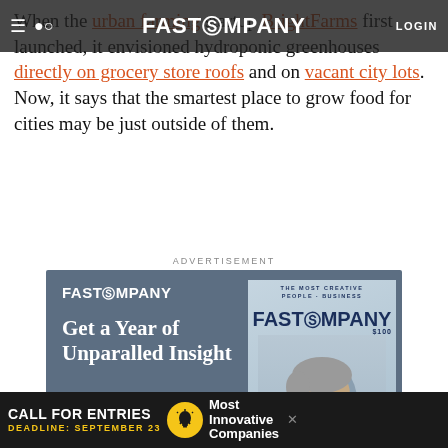FAST COMPANY — Navigation bar with hamburger, search, logo, LOGIN
When the urban farming startup BrightFarms first launched, it envisioned hydroponic greenhouses directly on grocery store roofs and on vacant city lots. Now, it says that the smartest place to grow food for cities may be just outside of them.
ADVERTISEMENT
[Figure (infographic): Fast Company subscription advertisement with logo, 'Get a Year of Unparalled Insight' headline, SUBSCRIBE button, INCLUDES: WEBSITE APP MAGAZINE icons, and Fast Company magazine cover showing a person]
[Figure (infographic): Bottom banner ad: CALL FOR ENTRIES / DEADLINE: SEPTEMBER 23 with lightbulb icon and 'Most Innovative Companies' text]